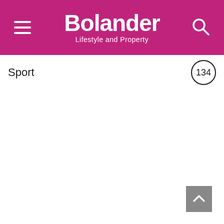Bolander — Lifestyle and Property
Sport
134